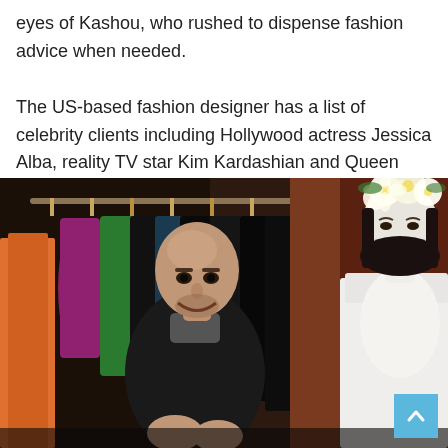eyes of Kashou, who rushed to dispense fashion advice when needed. The US-based fashion designer has a list of celebrity clients including Hollywood actress Jessica Alba, reality TV star Kim Kardashian and Queen Rania of Jordan.
[Figure (photo): A bald smiling man in a black polo shirt stands in front of a rack of colorful clothes on hangers (orange, purple, green, black). To his right is a white mannequin wearing a white dress and a floral white headpiece, against a brown/red wall background.]